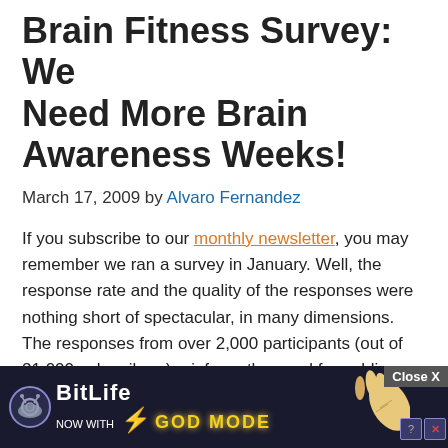Brain Fitness Survey: We Need More Brain Awareness Weeks!
March 17, 2009 by Alvaro Fernandez
If you subscribe to our monthly newsletter, you may remember we ran a survey in January. Well, the response rate and the quality of the responses were nothing short of spectacular, in many dimensions. The responses from over 2,000 participants (out of 21,000 subscribers) reinforce the need for public awareness initiatives and quality information to help evaluate and navigate product claims.
I have been presenting the results from one question at a time, A (Ame...
[Figure (screenshot): BitLife advertisement overlay with 'NOW WITH GOD MODE' text, lightning bolt graphic, pointing hand graphic, Close X button, and help/close icons]